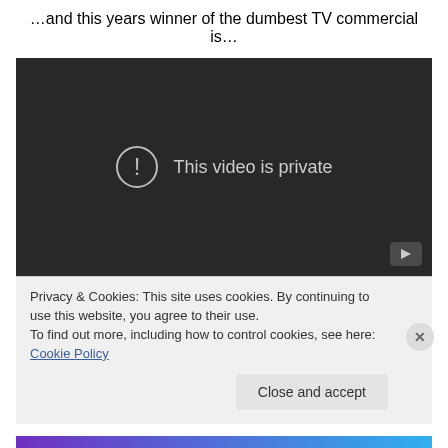…and this years winner of the dumbest TV commercial is…
[Figure (screenshot): Embedded YouTube video player showing 'This video is private' error message with a lock/warning icon and play button in the corner. The video area has a dark background.]
Privacy & Cookies: This site uses cookies. By continuing to use this website, you agree to their use.
To find out more, including how to control cookies, see here: Cookie Policy
Close and accept